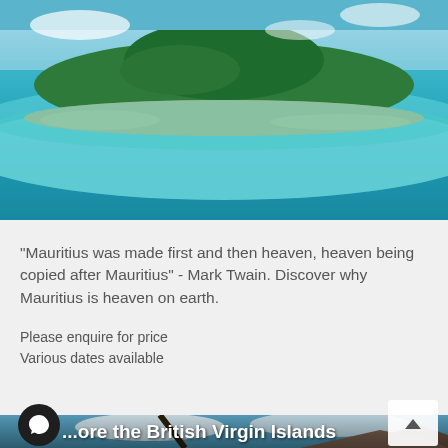[Figure (photo): Aerial view of Mauritius island with turquoise ocean water surrounding a green island with sandy beaches]
Explore Mauritius
"Mauritius was made first and then heaven, heaven being copied after Mauritius" - Mark Twain. Discover why Mauritius is heaven on earth.
Please enquire for price
Various dates available
[Figure (photo): Tropical beach scene with palm trees and ocean view of the British Virgin Islands, mountains in the background]
...ore the British Virgin Islands